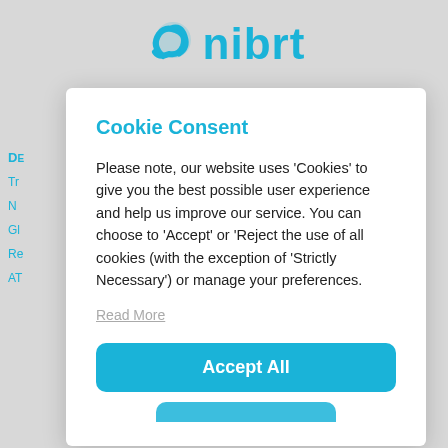[Figure (logo): nibrt logo with blue swoosh/icon and blue text 'nibrt']
Cookie Consent
Please note, our website uses 'Cookies' to give you the best possible user experience and help us improve our service. You can choose to 'Accept' or 'Reject the use of all cookies (with the exception of 'Strictly Necessary') or manage your preferences.
Read More
Accept All